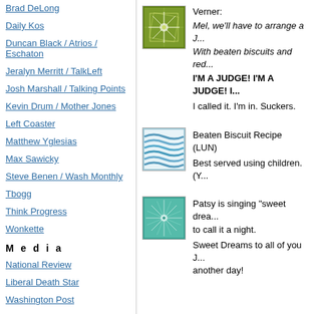Brad DeLong
Daily Kos
Duncan Black / Atrios / Eschaton
Jeralyn Merritt / TalkLeft
Josh Marshall / Talking Points
Kevin Drum / Mother Jones
Left Coaster
Matthew Yglesias
Max Sawicky
Steve Benen / Wash Monthly
Tbogg
Think Progress
Wonkette
M e d i a
National Review
Liberal Death Star
Washington Post
[Figure (illustration): Green geometric starburst pattern avatar]
Verner: Mel, we'll have to arrange a J... With beaten biscuits and red...
I'M A JUDGE! I'M A JUDGE! I...
I called it. I'm in. Suckers.
[Figure (illustration): Blue wavy lines pattern avatar]
Beaten Biscuit Recipe (LUN)
Best served using children. (Y...
[Figure (illustration): Teal starburst/snowflake pattern avatar]
Patsy is singing "sweet drea... to call it a night.
Sweet Dreams to all of you J... another day!